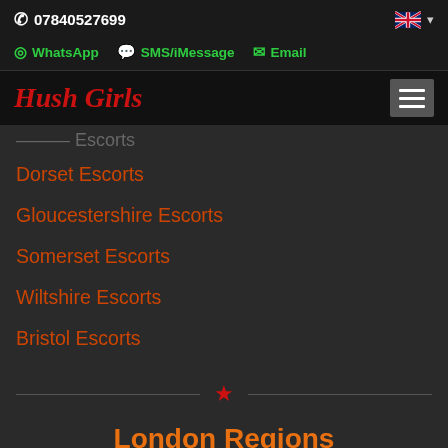07840527699
WhatsApp
SMS/iMessage
Email
Hush Girls
Dorset Escorts
Gloucestershire Escorts
Somerset Escorts
Wiltshire Escorts
Bristol Escorts
London Regions